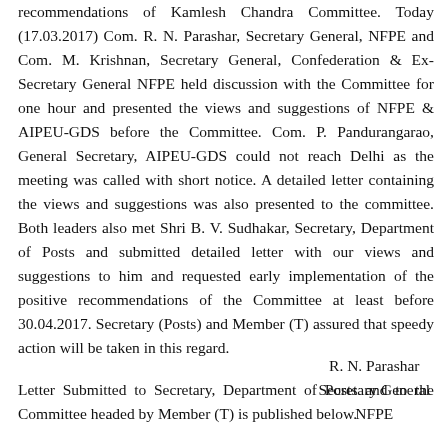recommendations of Kamlesh Chandra Committee. Today (17.03.2017) Com. R. N. Parashar, Secretary General, NFPE and Com. M. Krishnan, Secretary General, Confederation & Ex-Secretary General NFPE held discussion with the Committee for one hour and presented the views and suggestions of NFPE & AIPEU-GDS before the Committee. Com. P. Pandurangarao, General Secretary, AIPEU-GDS could not reach Delhi as the meeting was called with short notice. A detailed letter containing the views and suggestions was also presented to the committee. Both leaders also met Shri B. V. Sudhakar, Secretary, Department of Posts and submitted detailed letter with our views and suggestions to him and requested early implementation of the positive recommendations of the Committee at least before 30.04.2017. Secretary (Posts) and Member (T) assured that speedy action will be taken in this regard.
Letter Submitted to Secretary, Department of Posts and to the Committee headed by Member (T) is published below.
R. N. Parashar
Secretary General
NFPE